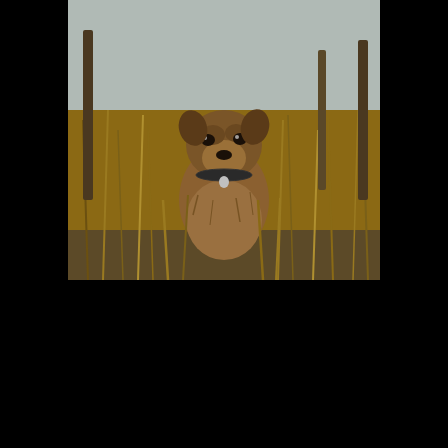[Figure (photo): A Border Terrier dog standing in tall grass on a moorland, facing the camera, with wooden fence posts visible in the background. The dog has a wiry, grizzled brown coat and wears a collar tag. The scene has warm, golden-brown tones.]
Location: Out on the Peat Moss between Bowmore